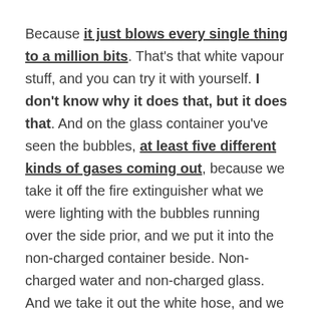Because it just blows every single thing to a million bits. That's that white vapour stuff, and you can try it with yourself. I don't know why it does that, but it does that. And on the glass container you've seen the bubbles, at least five different kinds of gases coming out, because we take it off the fire extinguisher what we were lighting with the bubbles running over the side prior, and we put it into the non-charged container beside. Non-charged water and non-charged glass. And we take it out the white hose, and we drive the bubbles down underneath the water. If you pull the hose out right at the end of it you'll blow yourself to a million bits. If you put the white hose underneath the water as a flash arrestor and you try and light the bubbles pouring at the top at first, you